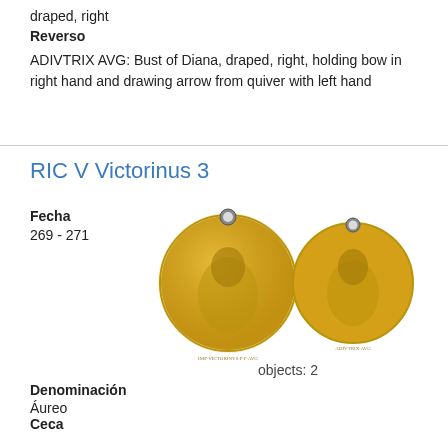draped, right
Reverso
ADIVTRIX AVG: Bust of Diana, draped, right, holding bow in right hand and drawing arrow from quiver with left hand
RIC V Victorinus 3
Fecha
269 - 271
[Figure (photo): Two gold Roman coins (aureus) of Victorinus. Left coin shows obverse with laureate bust left. Right coin shows reverse with draped bust. Both coins have holes at top. objects: 2]
objects: 2
Denominación
Áureo
Ceca
Southern Gallic Mint
Anverso
IMP VICTORINVS P F AVG: Half-length bust of Victorinus, laureate, cuirassed, left, holding spear in right hand and shield in left hand